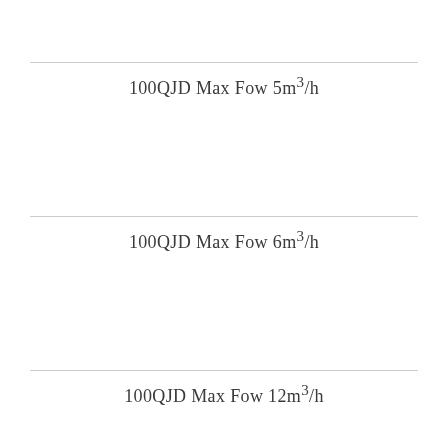100QJD Max Fow 5m³/h
100QJD Max Fow 6m³/h
100QJD Max Fow 12m³/h